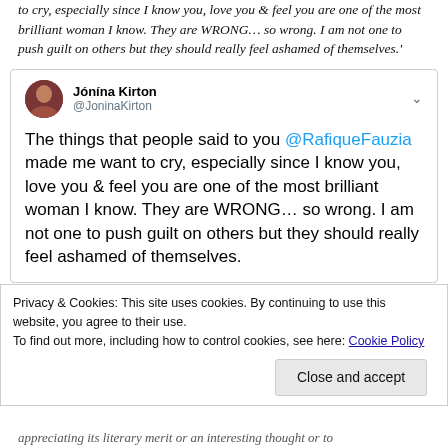to cry, especially since I know you, love you & feel you are one of the most brilliant woman I know. They are WRONG… so wrong. I am not one to push guilt on others but they should really feel ashamed of themselves.'
[Figure (screenshot): Embedded tweet from Jónína Kirton (@JoninaKirton) reading: The things that people said to you @RafiqueFauzia made me want to cry, especially since I know you, love you & feel you are one of the most brilliant woman I know. They are WRONG... so wrong. I am not one to push guilt on others but they should really feel ashamed of themselves.]
Privacy & Cookies: This site uses cookies. By continuing to use this website, you agree to their use.
To find out more, including how to control cookies, see here: Cookie Policy
Close and accept
appreciating its literary merit or an interesting thought or to